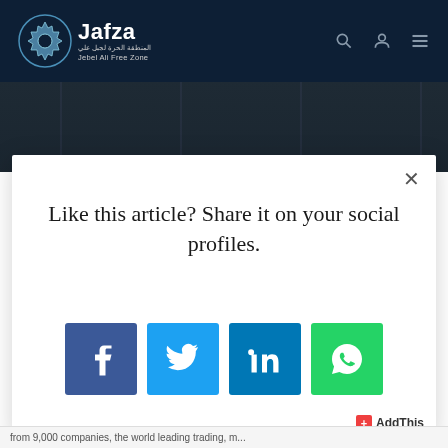Jafza – Jebel Ali Free Zone
[Figure (screenshot): Dark industrial background image strip showing pipes/machinery]
Like this article? Share it on your social profiles.
[Figure (infographic): Social share buttons: Facebook, Twitter, LinkedIn, WhatsApp]
AddThis